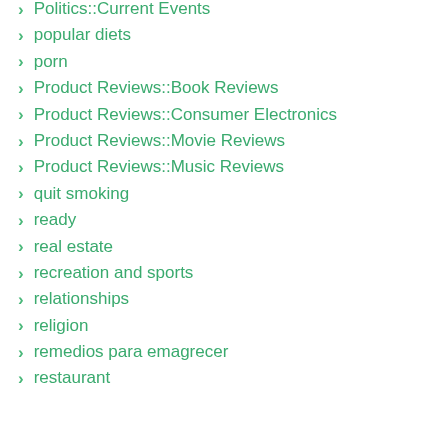Politics::Current Events
popular diets
porn
Product Reviews::Book Reviews
Product Reviews::Consumer Electronics
Product Reviews::Movie Reviews
Product Reviews::Music Reviews
quit smoking
ready
real estate
recreation and sports
relationships
religion
remedios para emagrecer
restaurant